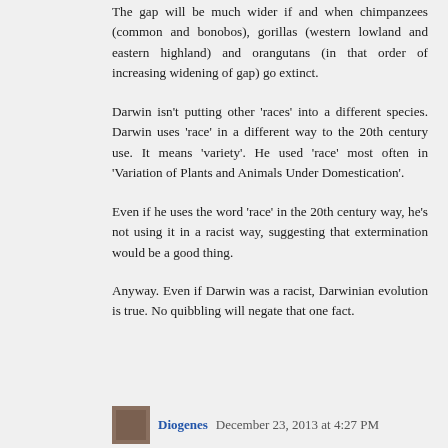The gap will be much wider if and when chimpanzees (common and bonobos), gorillas (western lowland and eastern highland) and orangutans (in that order of increasing widening of gap) go extinct.
Darwin isn't putting other 'races' into a different species. Darwin uses 'race' in a different way to the 20th century use. It means 'variety'. He used 'race' most often in 'Variation of Plants and Animals Under Domestication'.
Even if he uses the word 'race' in the 20th century way, he's not using it in a racist way, suggesting that extermination would be a good thing.
Anyway. Even if Darwin was a racist, Darwinian evolution is true. No quibbling will negate that one fact.
Diogenes December 23, 2013 at 4:27 PM